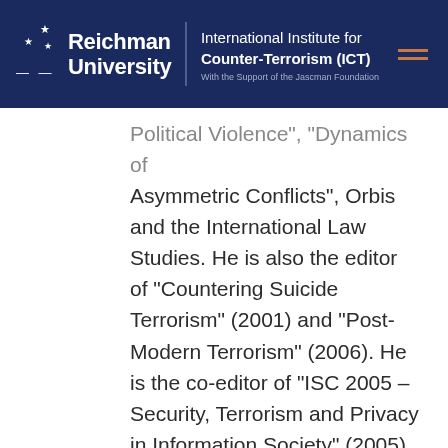Reichman University — International Institute for Counter-Terrorism (ICT) — With the Support of the Jascman Foundation
Political Violence", "Dynamics of Asymmetric Conflicts", Orbis and the International Law Studies. He is also the editor of "Countering Suicide Terrorism" (2001) and "Post-Modern Terrorism" (2006). He is the co-editor of “ISC 2005 – Security, Terrorism and Privacy in Information Society” (2005), "Trends in International Terrorism and Counter-Terrorism" (2007), "Hypermedia Seduction for Terrorist Recruiting" (2007), "Terrorism Informatics – Knowledge Management and Data Mining for Homeland Security" (2008),